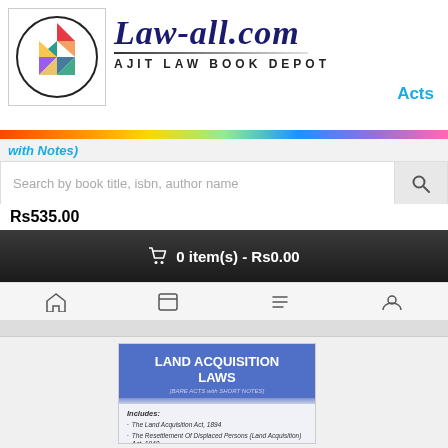Law-all.com — AJIT LAW BOOK DEPOT — Acts
with Notes)
Search by book title, isbn, author name
Rs535.00
🛒 0 item(s) - Rs0.00
[Figure (screenshot): Book product listing showing 'Land Acquisition Laws (Bare Acts with Short Notes)' book cover with blue header, includes list of three acts, and year 2021 at bottom]
LAND ACQUISITION LAWS
[BARE ACTS with SHORT NOTES]
Includes:
The Land Acquisition Act, 1894
The Resettlement Of Displaced Persons (Land Acquisition) Act, 1948
The Fair Compensation & Transparency in Land Acquisition, Rehabilitation & Resettlement Act, 2013
2021